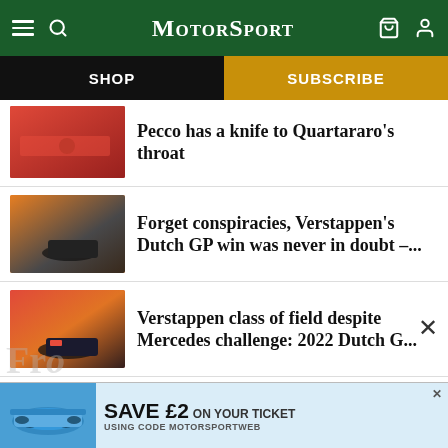MotorSport
SHOP
SUBSCRIBE
Pecco has a knife to Quartararo's throat
Forget conspiracies, Verstappen's Dutch GP win was never in doubt –...
Verstappen class of field despite Mercedes challenge: 2022 Dutch G...
SAVE £2 ON YOUR TICKET USING CODE MOTORSPORTWEB